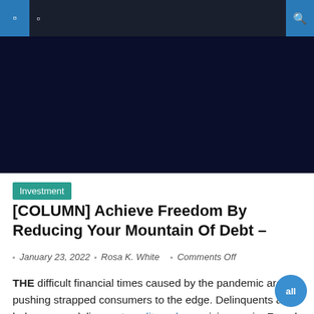Navigation bar with hamburger menu and search icon
[Figure (photo): Dark navy blue banner/hero image area for the article]
Investment
[COLUMN] Achieve Freedom By Reducing Your Mountain Of Debt –
January 23, 2022  Rosa K. White  Comments Off
THE difficult financial times caused by the pandemic are pushing strapped consumers to the edge. Delinquents and balances on delinquent credit cards are rising again. Faced with layoffs and difficult economic times, many people use their credit cards to pay for basic living expenses such as food and housing. Many people tap into their credit cards